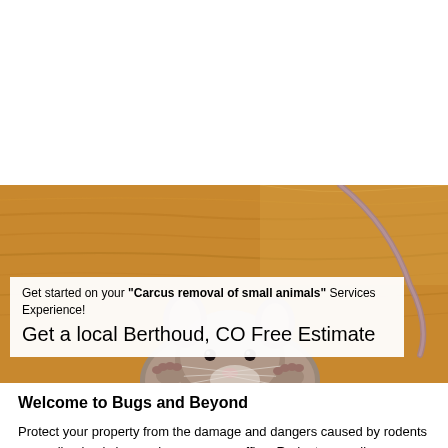[Figure (photo): Close-up photo of a small mouse or rodent peeking up over a wooden surface, with its paws visible. Wood-grain background in warm brown tones. Overlaid white text box with service offering.]
Get started on your "Carcus removal of small animals" Services Experience!
Get a local Berthoud, CO Free Estimate
Welcome to Bugs and Beyond
Protect your property from the damage and dangers caused by rodents or small animals in your home or your office. Rodents can all carry dangerous